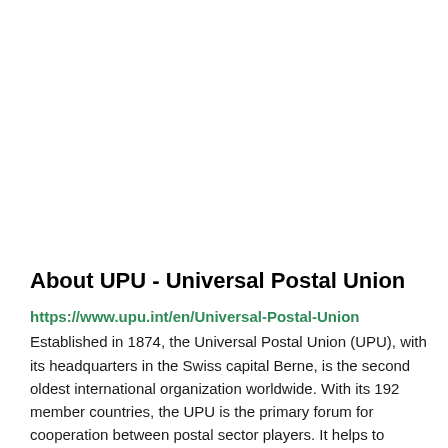About UPU - Universal Postal Union
https://www.upu.int/en/Universal-Postal-Union
Established in 1874, the Universal Postal Union (UPU), with its headquarters in the Swiss capital Berne, is the second oldest international organization worldwide. With its 192 member countries, the UPU is the primary forum for cooperation between postal sector players. It helps to ensure a truly universal network of up-to-date products and services.